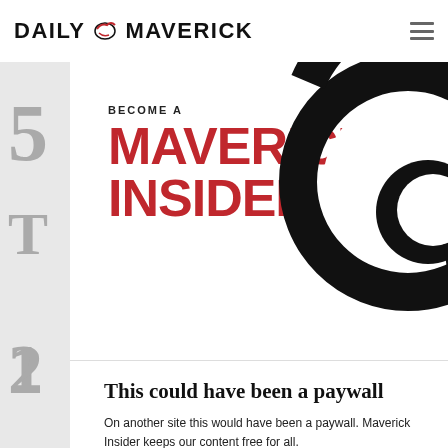DAILY MAVERICK
[Figure (illustration): Maverick Insider promotional banner with red bold text 'BECOME A MAVERICK INSIDER' on white background with a large black spiral/swirl graphic on the right side]
This could have been a paywall
On another site this would have been a paywall. Maverick Insider keeps our content free for all.
Become an Insider
Already an Insider? Click here to log in.